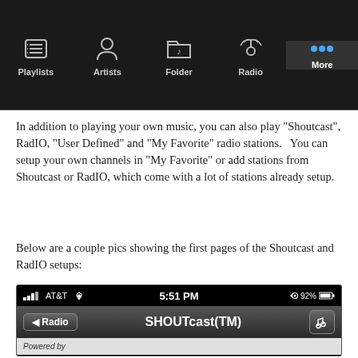[Figure (screenshot): Mobile app navigation bar showing tabs: Playlists, Artists, Folder, Radio, More (active/highlighted)]
In addition to playing your own music, you can also play "Shoutcast", RadIO, "User Defined" and "My Favorite" radio stations.   You can setup your own channels in "My Favorite" or add stations from Shoutcast or RadIO, which come with a lot of stations already setup.
Below are a couple pics showing the first pages of the Shoutcast and RadIO setups:
[Figure (screenshot): iPhone screenshot showing SHOUTcast(TM) radio app screen with AT&T carrier, 5:51 PM, 92% battery, Radio back button, music note button, Powered by SHOUTcast Radio logo, and Alternative category beginning to show]